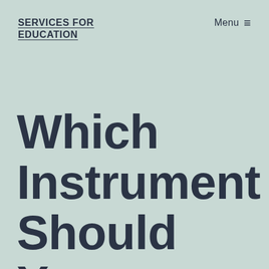SERVICES FOR EDUCATION
Menu ≡
Which Instrument Should You Learn? [New